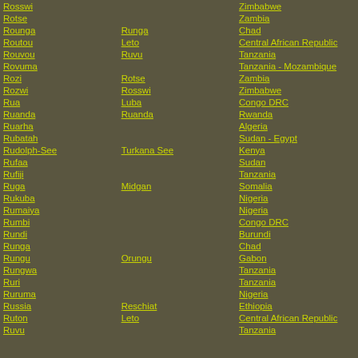| Name | Also known as | Country |
| --- | --- | --- |
| Rosswi |  | Zimbabwe |
| Rotse |  | Zambia |
| Rounga | Runga | Chad |
| Routou | Leto | Central African Republic |
| Rouvou | Ruvu | Tanzania |
| Rovuma |  | Tanzania - Mozambique |
| Rozi | Rotse | Zambia |
| Rozwi | Rosswi | Zimbabwe |
| Rua | Luba | Congo DRC |
| Ruanda | Ruanda | Rwanda |
| Ruarha |  | Algeria |
| Rubatah |  | Sudan - Egypt |
| Rudolph-See | Turkana See | Kenya |
| Rufaa |  | Sudan |
| Rufiji |  | Tanzania |
| Ruga | Midgan | Somalia |
| Rukuba |  | Nigeria |
| Rumaiya |  | Nigeria |
| Rumbi |  | Congo DRC |
| Rundi |  | Burundi |
| Runga |  | Chad |
| Rungu | Orungu | Gabon |
| Rungwa |  | Tanzania |
| Ruri |  | Tanzania |
| Ruruma |  | Nigeria |
| Russia | Reschiat | Ethiopia |
| Ruton | Leto | Central African Republic |
| Ruvu |  | Tanzania |